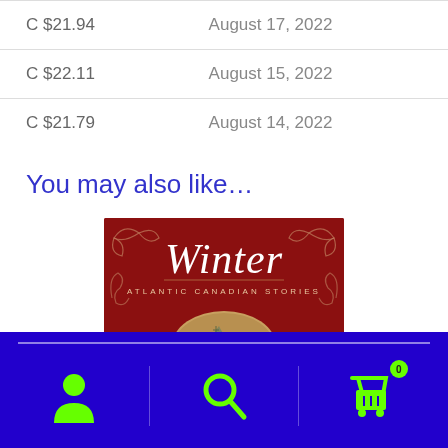| Price | Date |
| --- | --- |
| C $21.94 | August 17, 2022 |
| C $22.11 | August 15, 2022 |
| C $21.79 | August 14, 2022 |
You may also like…
[Figure (illustration): Book cover for 'Winter: Atlantic Canadian Stories' — red background with ornate scrollwork, large italic script title 'Winter', subtitle 'ATLANTIC CANADIAN STORIES', and a circular vignette showing a winter scene with bare trees and a church.]
Navigation bar with person icon, search icon, and cart icon (badge showing 0)